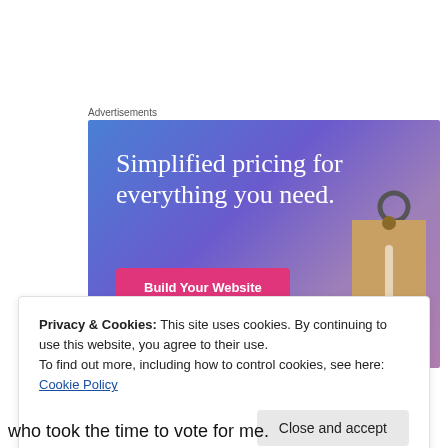Advertisements
[Figure (screenshot): Advertisement banner with gradient blue-purple background. Text reads 'Simplified pricing for everything you need.' with a pink 'Build Your Website' button and a price tag graphic on the right.]
Privacy & Cookies: This site uses cookies. By continuing to use this website, you agree to their use.
To find out more, including how to control cookies, see here: Cookie Policy
Close and accept
who took the time to vote for me.